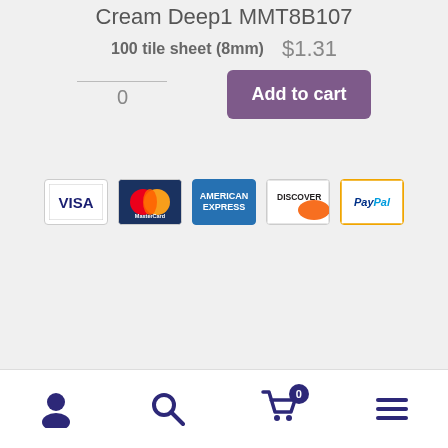Cream Deep1 MMT8B107
100 tile sheet (8mm)   $1.31
0
Add to cart
[Figure (other): Payment method icons: VISA, MasterCard, American Express, Discover, PayPal]
Website, Text and Images © 2003-2022 J.E. Moorman for Mosaic Art Supply, LLC. All rights reserved.
Morjo™, Morjo Mosaic Tile™, Mud Turtle Mosaic™, Outliners™, and Outliners Mosaic Sticks™ are the property of Mosaic Art Supply, LLC.
2964 Alcove Dr, Scottdale, GA 30079
Terms and Conditions | Contact Us | Privacy Policy
[Figure (other): Mobile navigation bar with person icon, search icon, cart icon with badge 0, and hamburger menu icon]